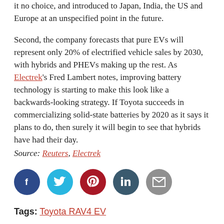it no choice, and introduced to Japan, India, the US and Europe at an unspecified point in the future.
Second, the company forecasts that pure EVs will represent only 20% of electrified vehicle sales by 2030, with hybrids and PHEVs making up the rest. As Electrek's Fred Lambert notes, improving battery technology is starting to make this look like a backwards-looking strategy. If Toyota succeeds in commercializing solid-state batteries by 2020 as it says it plans to do, then surely it will begin to see that hybrids have had their day.
Source: Reuters, Electrek
[Figure (infographic): Row of five social media sharing icon circles: Facebook (dark blue), Twitter (light blue), Pinterest (dark red), LinkedIn (teal/dark blue), Email (gray)]
Tags: Toyota RAV4 EV